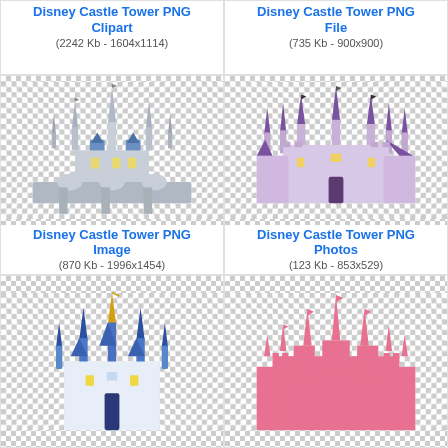Disney Castle Tower PNG Clipart
(2242 Kb - 1604x1114)
Disney Castle Tower PNG File
(735 Kb - 900x900)
[Figure (illustration): Disney Cinderella Castle grey/blue 3D illustration on transparent checkerboard background]
Disney Castle Tower PNG Image
(870 Kb - 1996x1454)
[Figure (illustration): Disney Cinderella Castle purple/lavender flat illustration on transparent checkerboard background]
Disney Castle Tower PNG Photos
(123 Kb - 853x529)
[Figure (illustration): Disney Cinderella Castle blue/teal illustration on transparent checkerboard background (partial, cropped)]
[Figure (illustration): Disney Cinderella Castle pink silhouette on transparent checkerboard background (partial, cropped)]